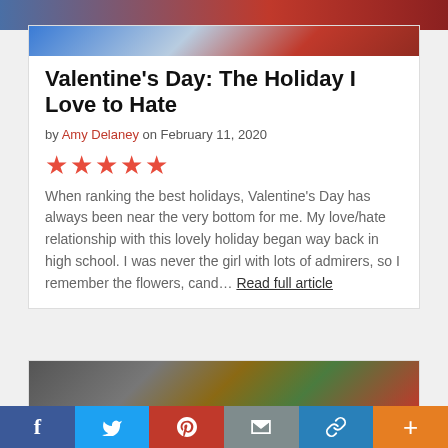[Figure (photo): Top banner photo showing Valentine's Day items in blue and red tones]
Valentine's Day: The Holiday I Love to Hate
by Amy Delaney on February 11, 2020
[Figure (other): Five red star rating icons]
When ranking the best holidays, Valentine's Day has always been near the very bottom for me. My love/hate relationship with this lovely holiday began way back in high school. I was never the girl with lots of admirers, so I remember the flowers, cand… Read full article
[Figure (photo): Second article preview image showing a person lying down with groceries]
[Figure (other): Social media sharing bar with Facebook, Twitter, Pinterest, Email, Link, and Plus buttons]